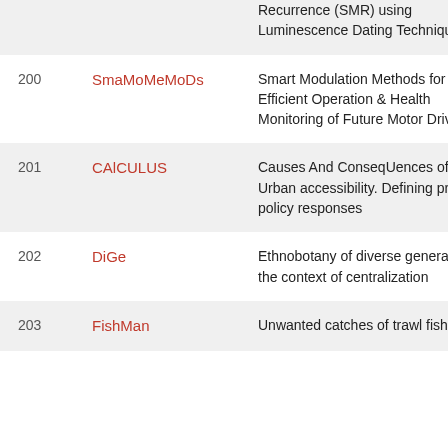| # | Acronym | Title |
| --- | --- | --- |
|  |  | Recurrence (SMR) using Luminescence Dating Techniques |
| 200 | SmaMoMeMoDs | Smart Modulation Methods for Energy Efficient Operation and Health Monitoring of Future Motor Drives |
| 201 | CAlCULUS | Causes And ConseqUences of Low Urban accessibility. Defining proper policy responses |
| 202 | DiGe | Ethnobotany of diverse generations in the context of centralization |
| 203 | FishMan | Unwanted catches of trawl fisheries: |